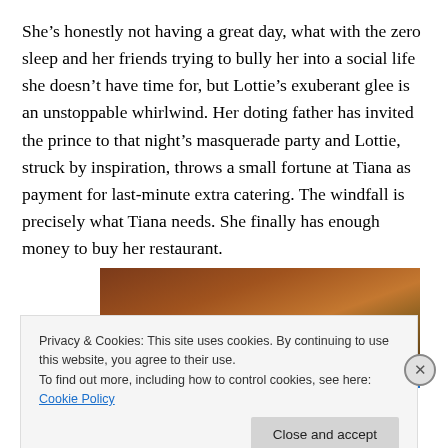She's honestly not having a great day, what with the zero sleep and her friends trying to bully her into a social life she doesn't have time for, but Lottie's exuberant glee is an unstoppable whirlwind. Her doting father has invited the prince to that night's masquerade party and Lottie, struck by inspiration, throws a small fortune at Tiana as payment for last-minute extra catering. The windfall is precisely what Tiana needs. She finally has enough money to buy her restaurant.
[Figure (photo): Animated scene showing characters at what appears to be a party or indoor setting with warm brown tones, partially obscured by cookie consent banner]
Privacy & Cookies: This site uses cookies. By continuing to use this website, you agree to their use.
To find out more, including how to control cookies, see here: Cookie Policy